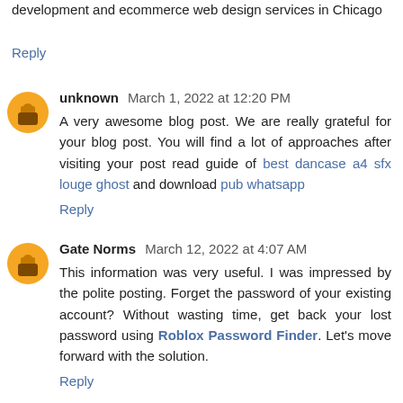development and ecommerce web design services in Chicago
Reply
unknown March 1, 2022 at 12:20 PM
A very awesome blog post. We are really grateful for your blog post. You will find a lot of approaches after visiting your post read guide of best dancase a4 sfx louge ghost and download pub whatsapp
Reply
Gate Norms March 12, 2022 at 4:07 AM
This information was very useful. I was impressed by the polite posting. Forget the password of your existing account? Without wasting time, get back your lost password using Roblox Password Finder. Let's move forward with the solution.
Reply